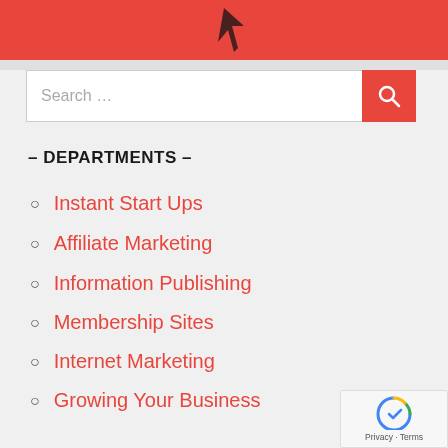[Figure (logo): Red banner header with a dark checkmark or swoosh logo mark on coral/red background]
[Figure (screenshot): Search bar with 'Search ...' placeholder text and a red search button with magnifying glass icon]
– DEPARTMENTS –
Instant Start Ups
Affiliate Marketing
Information Publishing
Membership Sites
Internet Marketing
Growing Your Business
Joint Venture
Copywriting